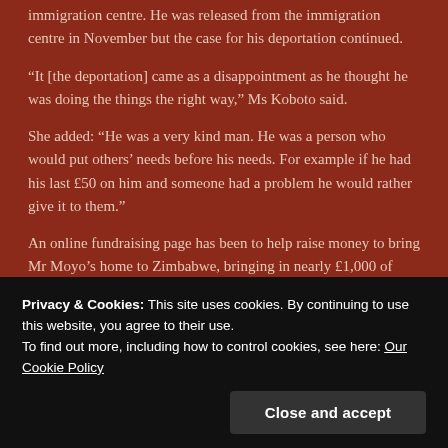immigration centre. He was released from the immigration centre in November but the case for his deportation continued.
“It [the deportation] came as a disappointment as he thought he was doing the things the right way,” Ms Koboto said.
She added: “He was a very kind man. He was a person who would put others’ needs before his needs. For example if he had his last £50 on him and someone had a problem he would rather give it to them.”
An online fundraising page has been to help raise money to bring Mr Moyo’s home to Zimbabwe, bringing in nearly £1,000 of donations.
The Home Office confirmed he had been at an immigration centre until November last year. Mr Moyo was due to be deported and his case was on-going.
Privacy & Cookies: This site uses cookies. By continuing to use this website, you agree to their use.
To find out more, including how to control cookies, see here: Our Cookie Policy
Close and accept